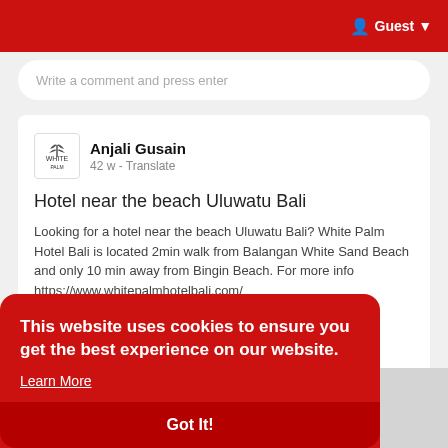Guest
Write a comment and press enter
Anjali Gusain
42 w - Translate
Hotel near the beach Uluwatu Bali
Looking for a hotel near the beach Uluwatu Bali? White Palm Hotel Bali is located 2min walk from Balangan White Sand Beach and only 10 min away from Bingin Beach. For more info https://www.whitepalmhotelbali.com/
This website uses cookies to ensure you get the best experience on our website.
Learn More
Got It!